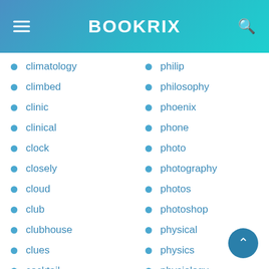BOOKRIX
climatology
climbed
clinic
clinical
clock
closely
cloud
club
clubhouse
clues
cocktail
code
coding
coffee
philip
philosophy
phoenix
phone
photo
photography
photos
photoshop
physical
physics
physiology
piano
pick
picture